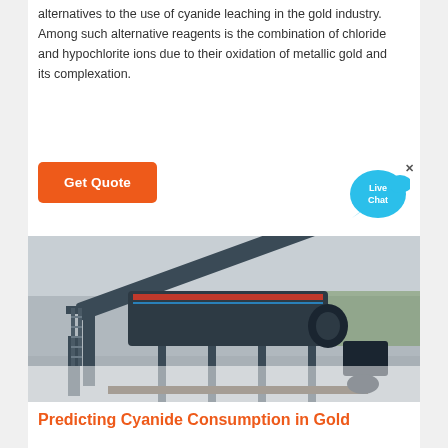alternatives to the use of cyanide leaching in the gold industry. Among such alternative reagents is the combination of chloride and hypochlorite ions due to their oxidation of metallic gold and its complexation.
[Figure (other): Orange 'Get Quote' button and a blue 'Live Chat' speech bubble widget with an X close button]
[Figure (photo): Photograph of industrial gold mining machinery equipment — a large conveyor/screening machine on supports at an outdoor mining site with green vegetation in the background]
Predicting Cyanide Consumption in Gold